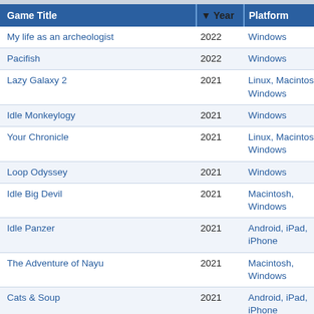| Game Title | Year | Platform | Pu |
| --- | --- | --- | --- |
| My life as an archeologist | 2022 | Windows | De |
| Pacifish | 2022 | Windows | Co |
| Lazy Galaxy 2 | 2021 | Linux, Macintosh, Windows | Co |
| Idle Monkeylogy | 2021 | Windows | Id |
| Your Chronicle | 2021 | Linux, Macintosh, Windows | Sa |
| Loop Odyssey | 2021 | Windows | Ho |
| Idle Big Devil | 2021 | Macintosh, Windows | Ho Te |
| Idle Panzer | 2021 | Android, iPad, iPhone | Cl |
| The Adventure of Nayu | 2021 | Macintosh, Windows | ar |
| Cats & Soup | 2021 | Android, iPad, iPhone | hid |
| Chill Corner | 2021 | Windows | Lo |
| Opec Idle | 2020 | Windows | Gr |
| Space Mech Pilot | 2020 | Windows | Sk |
| SuperNatural Duels | 2020 | Windows | Lu |
| Grim Clicker | 2020 | Windows | Ev |
| Big Helmet Heroes | 2020 | Android | Ex |
| Game of Thrones: Tale of Crows | 2020 | iPad, iPhone, | De |